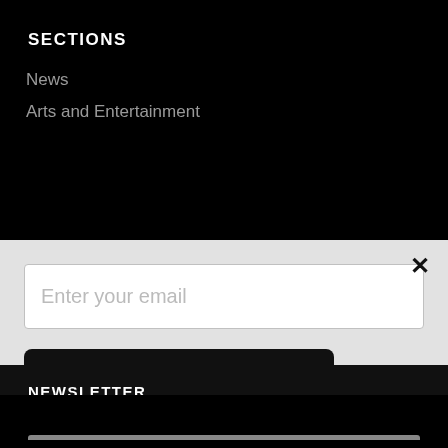SECTIONS
News
Arts and Entertainment
[Figure (screenshot): Newsletter subscription modal popup with email input field placeholder 'Enter your email', a black 'Subscribe to our newsletter' button, descriptive text, and a close X button]
NEWSLETTER
Email address:
Your email address